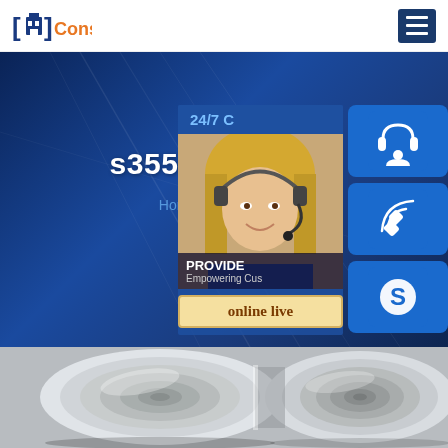Consted
s355ml packagi
Home >> A572 steel
[Figure (screenshot): Website screenshot showing Consted steel company page with hero banner, customer support widget with headset/phone/Skype icons and 'online live' button, and product photo of steel coils below]
[Figure (photo): Photo of shiny polished steel coils/rolls arranged side by side]